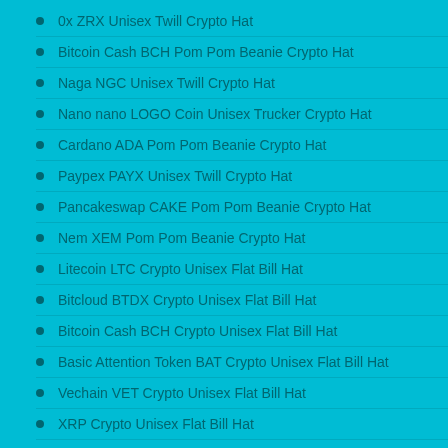0x ZRX Unisex Twill Crypto Hat
Bitcoin Cash BCH Pom Pom Beanie Crypto Hat
Naga NGC Unisex Twill Crypto Hat
Nano nano LOGO Coin Unisex Trucker Crypto Hat
Cardano ADA Pom Pom Beanie Crypto Hat
Paypex PAYX Unisex Twill Crypto Hat
Pancakeswap CAKE Pom Pom Beanie Crypto Hat
Nem XEM Pom Pom Beanie Crypto Hat
Litecoin LTC Crypto Unisex Flat Bill Hat
Bitcloud BTDX Crypto Unisex Flat Bill Hat
Bitcoin Cash BCH Crypto Unisex Flat Bill Hat
Basic Attention Token BAT Crypto Unisex Flat Bill Hat
Vechain VET Crypto Unisex Flat Bill Hat
XRP Crypto Unisex Flat Bill Hat
ENJIN COIN ENJ Crypto Unisex Flat Bill Hat
Ethereum ETH Lambo Crypto Unisex Flat Bill Hat
ARK Crypto Unisex Flat Bill Hat